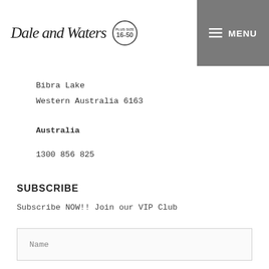Dale and Waters est. 1995 | Plus Size 16-50
Bibra Lake
Western Australia 6163
Australia
1300 856 825
SUBSCRIBE
Subscribe NOW!! Join our VIP Club
Name
Email